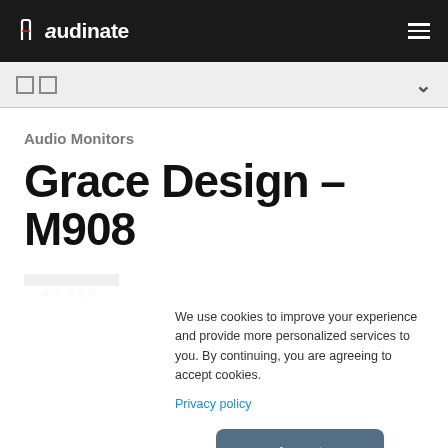Audinate
Audio Monitors
Grace Design – M908
[Figure (logo): Grace Design brand logo in small uppercase spaced lettering]
We use cookies to improve your experience and provide more personalized services to you. By continuing, you are agreeing to accept cookies. Privacy policy
Accept